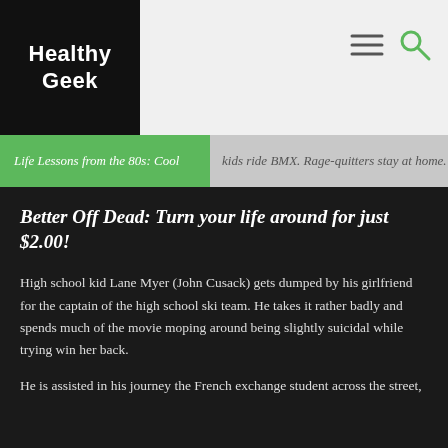Healthy Geek
Life Lessons from the 80s: Cool kids ride BMX. Rage-quitters stay at home.
Better Off Dead: Turn your life around for just $2.00!
High school kid Lane Myer (John Cusack) gets dumped by his girlfriend for the captain of the high school ski team. He takes it rather badly and spends much of the movie moping around being slightly suicidal while trying win her back.
He is assisted in his journey the French exchange student across the street,